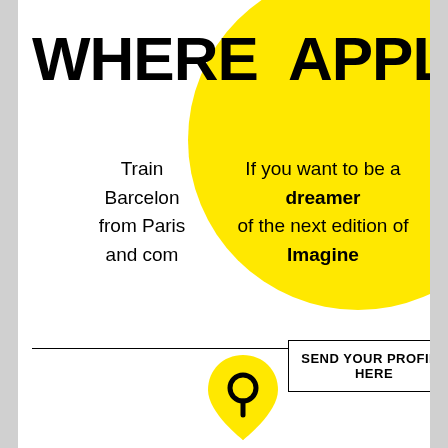WHERE TO APPLY
Training in Barcelona from Paris and come
If you want to be a dreamer of the next edition of Imagine
SEND YOUR PROFILE HERE